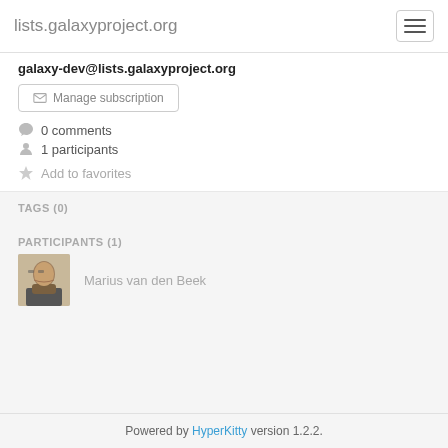lists.galaxyproject.org
galaxy-dev@lists.galaxyproject.org
Manage subscription
0 comments
1 participants
Add to favorites
TAGS (0)
PARTICIPANTS (1)
Marius van den Beek
Powered by HyperKitty version 1.2.2.